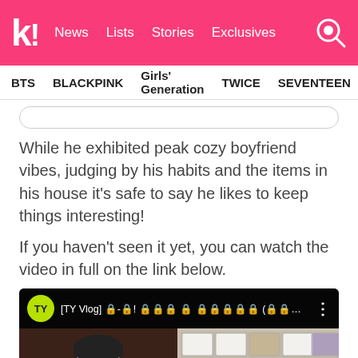k! News Lists Stories Exclusives
BTS  BLACKPINK  Girls' Generation  TWICE  SEVENTEEN
While he exhibited peak cozy boyfriend vibes, judging by his habits and the items in his house it's safe to say he likes to keep things interesting!
If you haven't seen it yet, you can watch the video in full on the link below.
[Figure (screenshot): YouTube video thumbnail showing TY Vlog with a person's face on left and sneaker shelves on right]